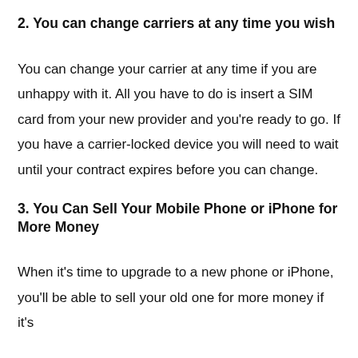2. You can change carriers at any time you wish
You can change your carrier at any time if you are unhappy with it. All you have to do is insert a SIM card from your new provider and you're ready to go. If you have a carrier-locked device you will need to wait until your contract expires before you can change.
3. You Can Sell Your Mobile Phone or iPhone for More Money
When it's time to upgrade to a new phone or iPhone, you'll be able to sell your old one for more money if it's